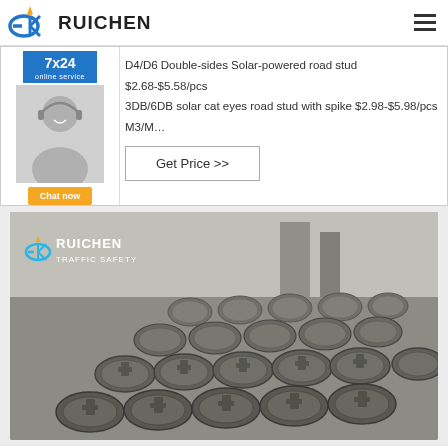RUICHEN
D4/D6 Double-sides Solar-powered road stud $2.68-$5.58/pcs
3DB/6DB solar cat eyes road stud with spike $2.98-$5.98/pcs M3/M…
Get Price >>
[Figure (photo): Multiple round gray road stud housings arranged in rows on a table in a factory/warehouse setting, with RUICHEN TRAFFIC SAFETY logo visible in upper left of image]
[Figure (photo): 7x24 online service badge with customer service representative photo and Chat now button]